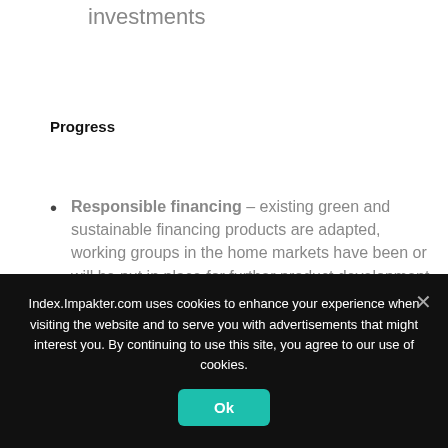investments
Progress
Responsible financing – existing green and sustainable financing products are adapted, working groups in the home markets have been or will be put in place for further product development
Responsible investments – the process of
Index.Impakter.com uses cookies to enhance your experience when visiting the website and to serve you with advertisements that might interest you. By continuing to use this site, you agree to our use of cookies.